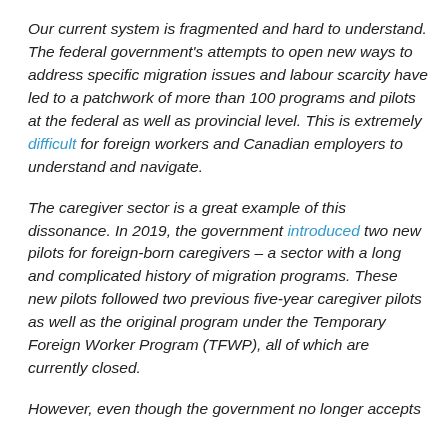Our current system is fragmented and hard to understand. The federal government's attempts to open new ways to address specific migration issues and labour scarcity have led to a patchwork of more than 100 programs and pilots at the federal as well as provincial level. This is extremely difficult for foreign workers and Canadian employers to understand and navigate.
The caregiver sector is a great example of this dissonance. In 2019, the government introduced two new pilots for foreign-born caregivers – a sector with a long and complicated history of migration programs. These new pilots followed two previous five-year caregiver pilots as well as the original program under the Temporary Foreign Worker Program (TFWP), all of which are currently closed.
However, even though the government no longer accepts